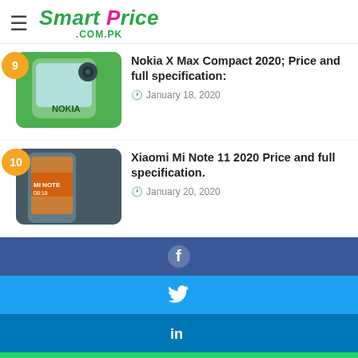Smart Price .com.pk
Nokia X Max Compact 2020; Price and full specification: — January 18, 2020
Xiaomi Mi Note 11 2020 Price and full specification. — January 20, 2020
[Figure (infographic): Social share buttons: Facebook (blue), Twitter (light blue), LinkedIn (medium blue), WhatsApp (green), Telegram (blue), Phone/Viber (purple)]